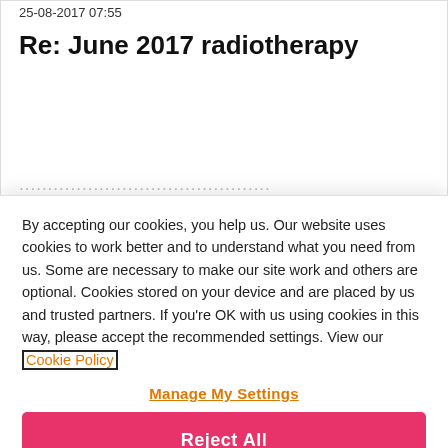25-08-2017 07:55
Re: June 2017 radiotherapy
By accepting our cookies, you help us. Our website uses cookies to work better and to understand what you need from us. Some are necessary to make our site work and others are optional. Cookies stored on your device and are placed by us and trusted partners. If you're OK with us using cookies in this way, please accept the recommended settings. View our Cookie Policy
Manage My Settings
Reject All
Accept All Cookies